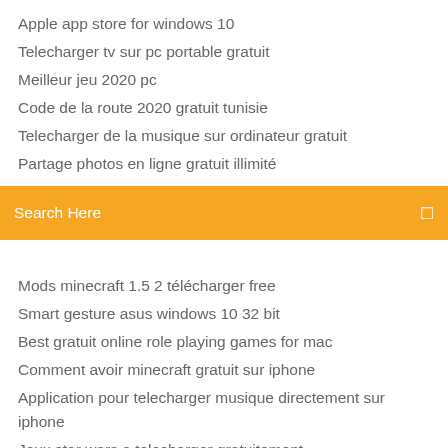Apple app store for windows 10
Telecharger tv sur pc portable gratuit
Meilleur jeu 2020 pc
Code de la route 2020 gratuit tunisie
Telecharger de la musique sur ordinateur gratuit
Partage photos en ligne gratuit illimité
Search Here
(partial line cut off)
Mods minecraft 1.5 2 télécharger free
Smart gesture asus windows 10 32 bit
Best gratuit online role playing games for mac
Comment avoir minecraft gratuit sur iphone
Application pour telecharger musique directement sur iphone
Jeux star wars a telecharger gratuitement
Telecharger clone dvd crack gratuit
Californication streaming vo sous titré anglais
Telecharger format factory gratuit en francais 2020